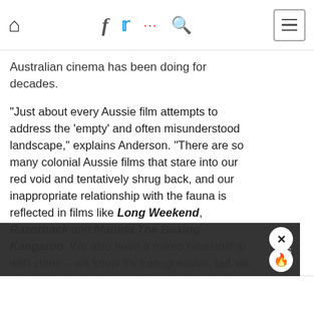Navigation bar with home, facebook, twitter, dots, search icons and hamburger menu
Australian cinema has been doing for decades.
“Just about every Aussie film attempts to address the ‘empty’ and often misunderstood landscape,” explains Anderson. “There are so many colonial Aussie films that stare into our red void and tentatively shrug back, and our inappropriate relationship with the fauna is reflected in films like Long Weekend, Razorback and Matilda The Boxing Kangaroo. We also have a mixed relationship with crime – we know it's transgressive, but we also think that being a grubby rule-breaker is heroic.”
“On a personal level, I chose to make a film about abortion,” he continues. “It’s not such a big issue here, but it could be. Conservatism is always waiting around the corner, and although hot topics in Australia include immigration and national security, little freedoms and beliefs are easily taken away when people are scared. Reproductive rights, privacy, disability services, cultural funding are all things that can eas…”